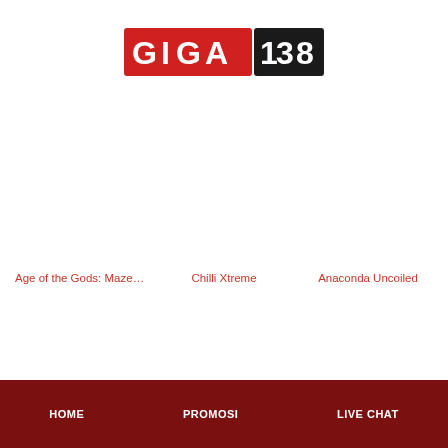[Figure (logo): GIGA138 logo — red background for GIGA letters, black background for 138]
Age of the Gods: Maze ...
Chilli Xtreme
Anaconda Uncoiled
Fishin' Bonanza
Leprechaun's Luck: Cas...
Mega Fire Blaze: Wild P...
The Queen's Curse: Em...
Power Zones: Thunder ...
Mega Fire Blaze: Big Cir...
HOME    PROMOSI    LIVE CHAT